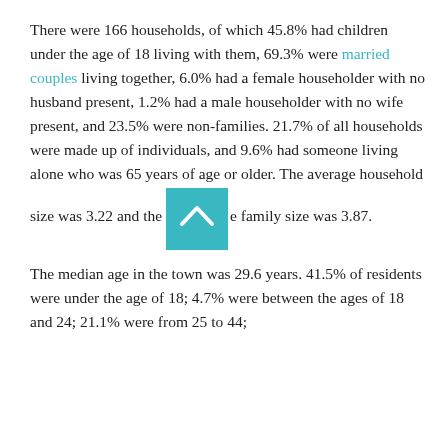There were 166 households, of which 45.8% had children under the age of 18 living with them, 69.3% were married couples living together, 6.0% had a female householder with no husband present, 1.2% had a male householder with no wife present, and 23.5% were non-families. 21.7% of all households were made up of individuals, and 9.6% had someone living alone who was 65 years of age or older. The average household size was 3.22 and the average family size was 3.87.
The median age in the town was 29.6 years. 41.5% of residents were under the age of 18; 4.7% were between the ages of 18 and 24; 21.1% were from 25 to 44;